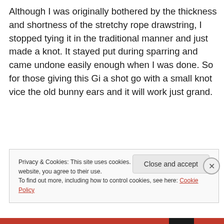Although I was originally bothered by the thickness and shortness of the stretchy rope drawstring, I stopped tying it in the traditional manner and just made a knot. It stayed put during sparring and came undone easily enough when I was done. So for those giving this Gi a shot go with a small knot vice the old bunny ears and it will work just grand.
Privacy & Cookies: This site uses cookies. By continuing to use this website, you agree to their use.
To find out more, including how to control cookies, see here: Cookie Policy